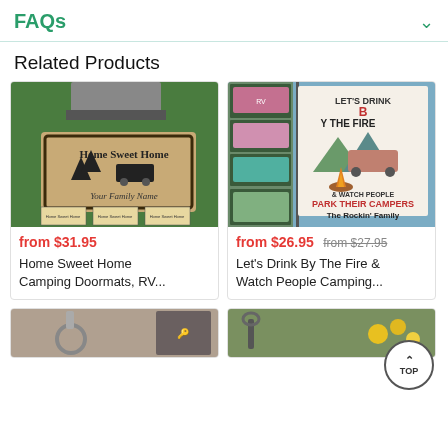FAQs
Related Products
[Figure (photo): Personalized camping doormat showing 'Home Sweet Home' with tree and RV design, on green artificial grass near RV steps. Three smaller variant thumbnails below.]
from $31.95
Home Sweet Home Camping Doormats, RV...
[Figure (photo): Garden flag collage: flag reads 'Let's Drink By The Fire & Watch People Park Their Campers – The Rockin' Family', surrounded by pink and teal RV photos.]
from $26.95 from $27.95
Let's Drink By The Fire & Watch People Camping...
[Figure (photo): Partial bottom row left product — keychain with camping-related design, partially visible.]
[Figure (photo): Partial bottom row right product — outdoor/nature product with yellow flowers, partially visible.]